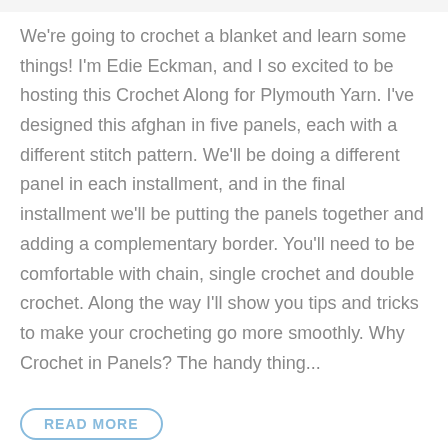We're going to crochet a blanket and learn some things! I'm Edie Eckman, and I so excited to be hosting this Crochet Along for Plymouth Yarn. I've designed this afghan in five panels, each with a different stitch pattern. We'll be doing a different panel in each installment, and in the final installment we'll be putting the panels together and adding a complementary border. You'll need to be comfortable with chain, single crochet and double crochet. Along the way I'll show you tips and tricks to make your crocheting go more smoothly. Why Crochet in Panels? The handy thing...
READ MORE